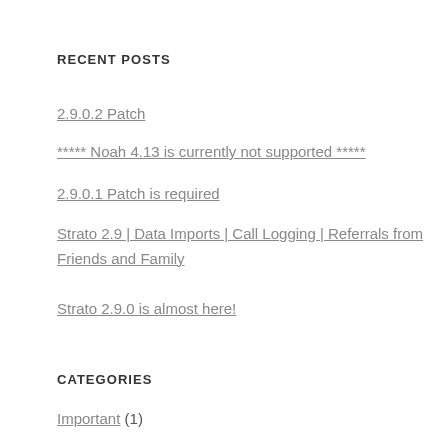RECENT POSTS
2.9.0.2 Patch
***** Noah 4.13 is currently not supported *****
2.9.0.1 Patch is required
Strato 2.9 | Data Imports | Call Logging | Referrals from Friends and Family
Strato 2.9.0 is almost here!
CATEGORIES
Important (1)
News (12)
Releases (47)